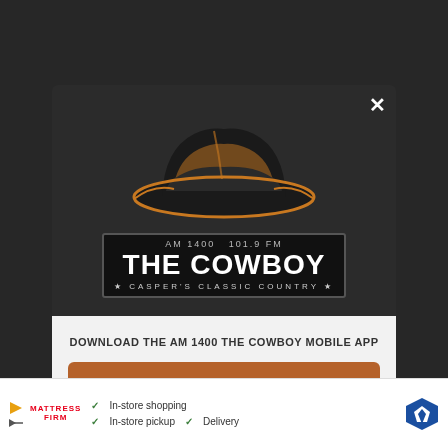[Figure (screenshot): Screenshot of a webpage with a modal popup dialog for 'The Cowboy' radio station AM 1400 / 101.9 FM, Casper's Classic Country. The modal has a dark top section with the station logo (cowboy hat graphic and station name), and a white bottom section with a CTA button and Amazon Alexa listening option. Background shows a dimmed webpage with a Mattress Firm advertisement strip at bottom.]
DOWNLOAD THE AM 1400 THE COWBOY MOBILE APP
GET OUR FREE MOBILE APP
Also listen on:  amazon alexa